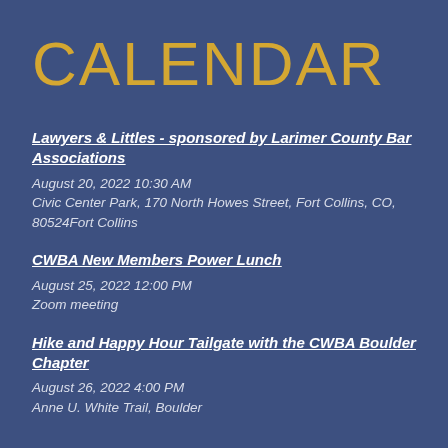CALENDAR
Lawyers & Littles - sponsored by Larimer County Bar Associations
August 20, 2022 10:30 AM
Civic Center Park, 170 North Howes Street, Fort Collins, CO, 80524Fort Collins
CWBA New Members Power Lunch
August 25, 2022 12:00 PM
Zoom meeting
Hike and Happy Hour Tailgate with the CWBA Boulder Chapter
August 26, 2022 4:00 PM
Anne U. White Trail, Boulder